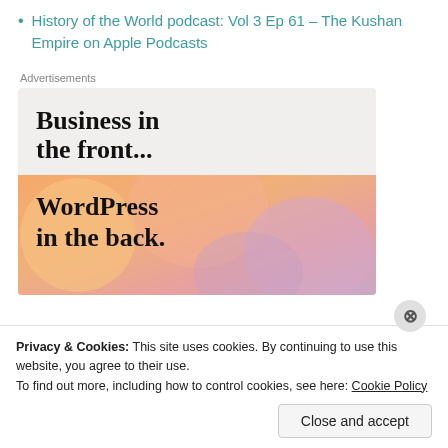History of the World podcast: Vol 3 Ep 61 – The Kushan Empire on Apple Podcasts
Advertisements
[Figure (screenshot): Advertisement banner with two sections: top light gray section with bold serif text 'Business in the front...' and bottom colorful gradient section (orange/pink/lavender) with bold serif text 'WordPress in the back.']
Privacy & Cookies: This site uses cookies. By continuing to use this website, you agree to their use.
To find out more, including how to control cookies, see here: Cookie Policy
Close and accept